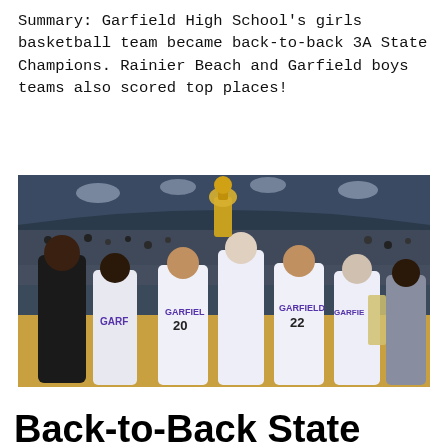Summary: Garfield High School's girls basketball team became back-to-back 3A State Champions. Rainier Beach and Garfield boys teams also scored top places!
[Figure (photo): Photo of Garfield High School girls basketball team celebrating with trophy, players wearing white and purple GARFIELD jerseys with numbers 20 and 22 visible, coach and team members holding trophy aloft in an arena]
Back-to-Back State